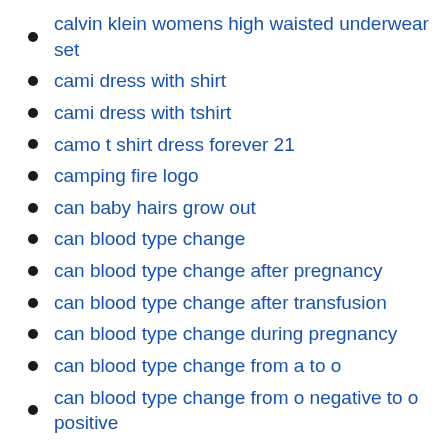calvin klein womens high waisted underwear set
cami dress with shirt
cami dress with tshirt
camo t shirt dress forever 21
camping fire logo
can baby hairs grow out
can blood type change
can blood type change after pregnancy
can blood type change after transfusion
can blood type change during pregnancy
can blood type change from a to o
can blood type change from o negative to o positive
can blood type change from positive to negative
can blood type change over time
can caffeine cause stomach pain